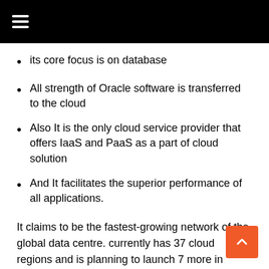its core focus is on database
All strength of Oracle software is transferred to the cloud
Also It is the only cloud service provider that offers IaaS and PaaS as a part of cloud solution
And It facilitates the superior performance of all applications.
It claims to be the fastest-growing network of the global data centre. currently has 37 cloud regions and is planning to launch 7 more in 2022.
Oracle pricing model: